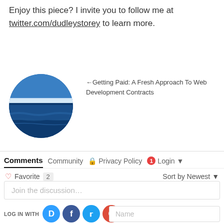Enjoy this piece? I invite you to follow me at twitter.com/dudleystorey to learn more.
[Figure (photo): Circular profile photo showing a blue ocean seascape with clouds on the horizon, used as an avatar image]
← Getting Paid: A Fresh Approach To Web Development Contracts
Comments | Community | 🔒 Privacy Policy | 🔔1 Login ▾
♡ Favorite  2     Sort by Newest ▾
Join the discussion…
LOG IN WITH
OR SIGN UP WITH DISQUS ?
Name